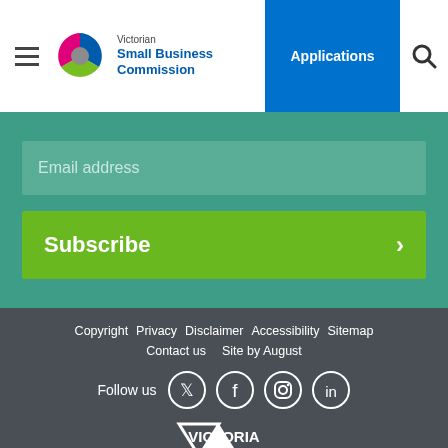Victorian Small Business Commission | Applications
Email address
Subscribe
Copyright   Privacy   Disclaimer   Accessibility   Sitemap   Contact us   Site by August
Follow us
[Figure (logo): Victoria State Government logo - white triangle V shape with VICTORIA State Government text]
[Figure (logo): Victorian Small Business Commission logo with multicolour pinwheel icon]